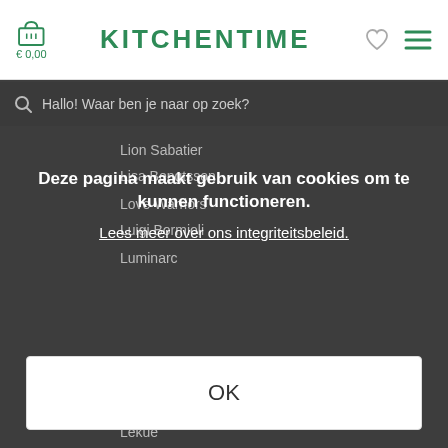[Figure (screenshot): Kitchentime website header with shopping cart icon showing €0,00, KITCHENTIME logo in green, heart icon, and hamburger menu icon]
Hallo! Waar ben je naar op zoek?
Deze pagina maakt gebruik van cookies om te kunnen functioneren.
Lees meer over ons integriteitsbeleid.
OK
Lion Sabatier
Lisa Bengtsson
Love Warriors
Luigi Bormioli
Luminarc
Lekue
M
Madam Stoltz
Madesmart
Magimix
Majvillan